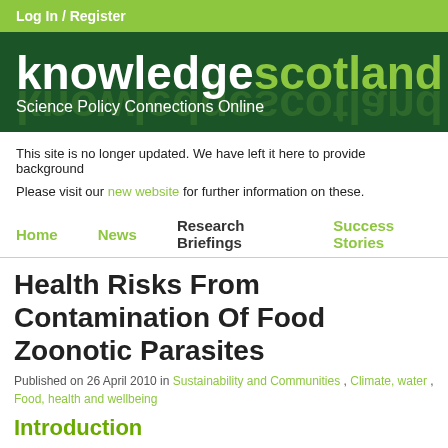Log In / Register
[Figure (logo): knowledgescotland logo with tagline 'Science Policy Connections Online' on dark green background]
This site is no longer updated. We have left it here to provide background
Please visit our new website for further information on these.
Home  News  Research Briefings  Success Stories
Health Risks From Contamination Of Food Zoonotic Parasites
Published on 26 April 2010 in Sustainability and Communities , Climate, water , Food, health and wellbeing
Introduction